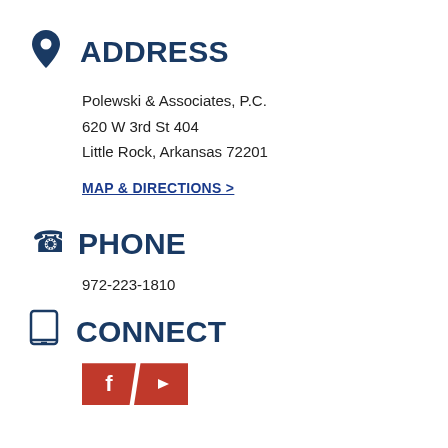ADDRESS
Polewski & Associates, P.C.
620 W 3rd St 404
Little Rock, Arkansas 72201
MAP & DIRECTIONS >
PHONE
972-223-1810
CONNECT
[Figure (logo): Social media icons: Facebook and YouTube on red parallelogram-shaped backgrounds]